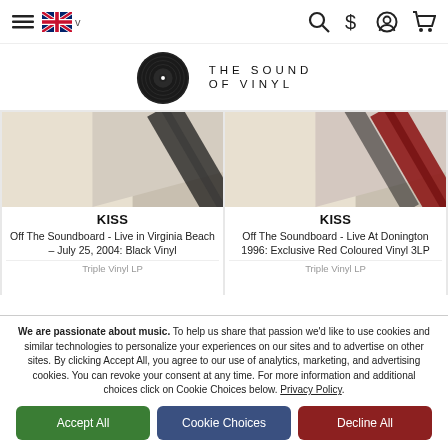Navigation bar with hamburger menu, UK flag, search, dollar, account, and cart icons
[Figure (logo): The Sound of Vinyl logo — vinyl record icon with text 'THE SOUND OF VINYL']
[Figure (photo): Product image: KISS - Off The Soundboard - Live in Virginia Beach – July 25, 2004: Black Vinyl album cover partial view]
KISS
Off The Soundboard - Live in Virginia Beach – July 25, 2004: Black Vinyl
[Figure (photo): Product image: KISS - Off The Soundboard - Live At Donington 1996: Exclusive Red Coloured Vinyl 3LP album cover partial view]
KISS
Off The Soundboard - Live At Donington 1996: Exclusive Red Coloured Vinyl 3LP
We are passionate about music. To help us share that passion we'd like to use cookies and similar technologies to personalize your experiences on our sites and to advertise on other sites. By clicking Accept All, you agree to our use of analytics, marketing, and advertising cookies. You can revoke your consent at any time. For more information and additional choices click on Cookie Choices below. Privacy Policy.